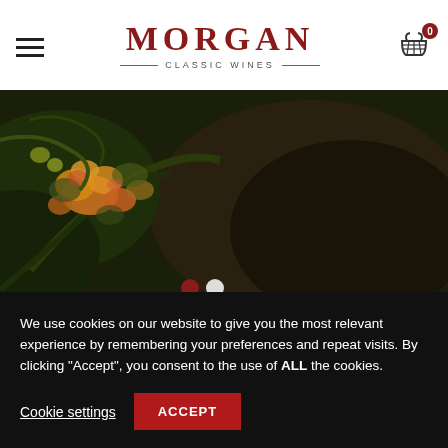[Figure (logo): Morgan Classic Wines logo with hamburger menu icon on left and shopping cart with 0 badge on right]
[Figure (photo): Close-up photograph of colorful vine buds or flowers on a dark rocky surface, used as a hero/banner image for the wine website]
We use cookies on our website to give you the most relevant experience by remembering your preferences and repeat visits. By clicking “Accept”, you consent to the use of ALL the cookies.
Cookie settings
ACCEPT